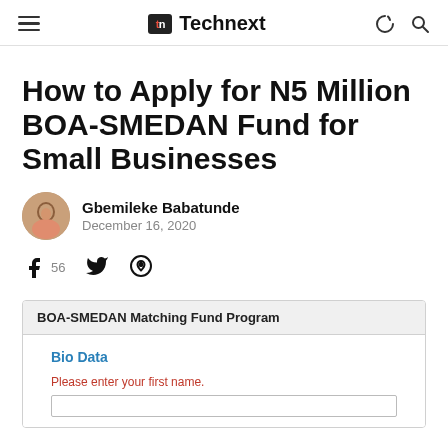Technext
How to Apply for N5 Million BOA-SMEDAN Fund for Small Businesses
Gbemileke Babatunde
December 16, 2020
56
[Figure (screenshot): BOA-SMEDAN Matching Fund Program application form showing Bio Data section with 'Please enter your first name.' label and an input field]